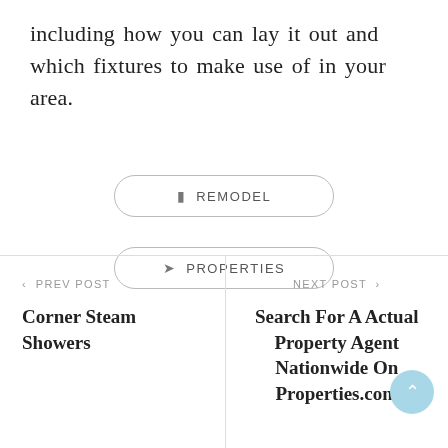including how you can lay it out and which fixtures to make use of in your area.
REMODEL
PROPERTIES
< PREV POST
Corner Steam Showers
NEXT POST >
Search For A Actual Property Agent Nationwide On Properties.com